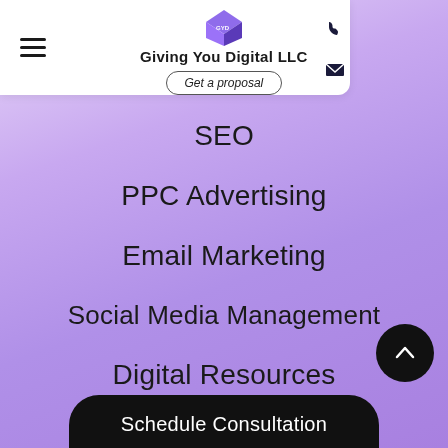Giving You Digital LLC
SEO
PPC Advertising
Email Marketing
Social Media Management
Digital Resources
Contact
Schedule Consultation